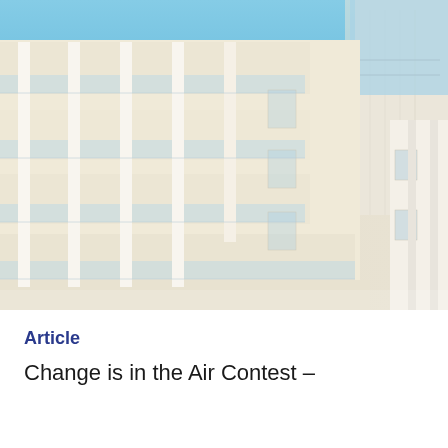[Figure (photo): Exterior photograph of a modern white/cream residential apartment building with balconies and glass railings, photographed from a low angle against a clear blue sky. The building shows geometric balcony structures on the left portion and a plainer facade on the right side.]
Article
Change is in the Air Contest –